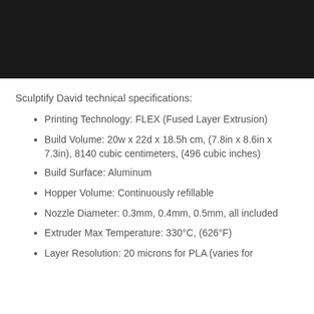[Figure (photo): Black rectangular image area at the top of the page]
Sculptify David technical specifications:
Printing Technology: FLEX (Fused Layer Extrusion)
Build Volume: 20w x 22d x 18.5h cm, (7.8in x 8.6in x 7.3in), 8140 cubic centimeters, (496 cubic inches)
Build Surface: Aluminum
Hopper Volume: Continuously refillable
Nozzle Diameter: 0.3mm, 0.4mm, 0.5mm, all included
Extruder Max Temperature: 330°C, (626°F)
Layer Resolution: 20 microns for PLA (varies for